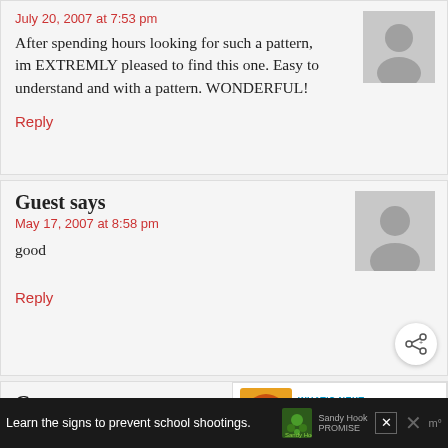July 20, 2007 at 7:53 pm
After spending hours looking for such a pattern, im EXTREMLY pleased to find this one. Easy to understand and with a pattern. WONDERFUL!
Reply
Guest says
May 17, 2007 at 8:58 pm
good
Reply
Guest says
March 29, 2007 at 6:06 pm
it took me forever to find this, but it was so
WHAT'S NEXT → Sunflower Pumpkin Do...
Learn the signs to prevent school shootings.